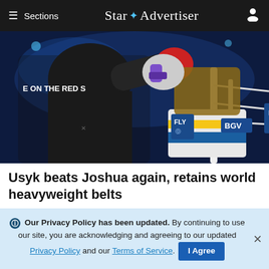≡ Sections  Star ✦ Advertiser
[Figure (photo): Boxing match photo showing two fighters in action — one in black shorts (Joshua) and another in white/blue/yellow Ukrainian-themed shorts (Usyk), in a boxing ring with crowd in background. Text visible on ring corner: 'E ON THE RED S']
Usyk beats Joshua again, retains world heavyweight belts
[Figure (photo): Partial photo showing a baseball cap with a logo/shield emblem, green background visible]
ℹ Our Privacy Policy has been updated. By continuing to use our site, you are acknowledging and agreeing to our updated Privacy Policy and our Terms of Service. I Agree